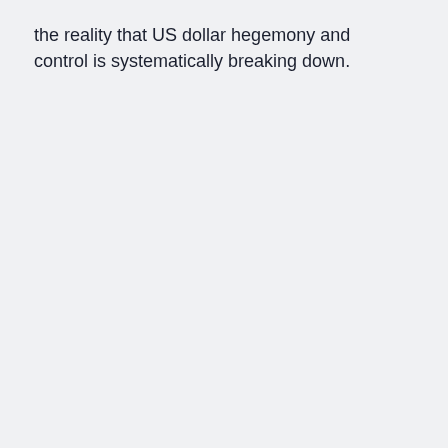the reality that US dollar hegemony and control is systematically breaking down.